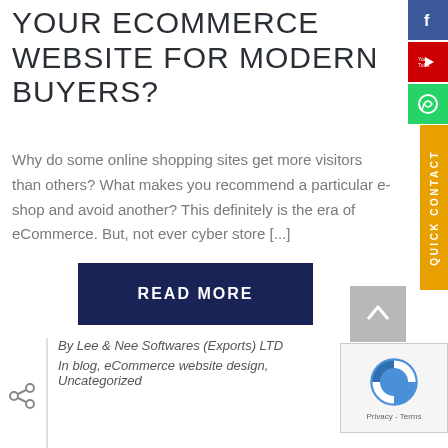YOUR ECOMMERCE WEBSITE FOR MODERN BUYERS?
Why do some online shopping sites get more visitors than others? What makes you recommend a particular e-shop and avoid another? This definitely is the era of eCommerce. But, not ever cyber store [...]
[Figure (other): READ MORE button — dark navy blue rectangle with white uppercase text]
[Figure (other): Right sidebar with Facebook (blue), YouTube (red), WhatsApp (green) social icons and yellow QUICK CONTACT vertical tab]
[Figure (other): Scroll-to-top grey button with upward caret arrow]
[Figure (other): reCAPTCHA widget with Privacy - Terms text]
By Lee & Nee Softwares (Exports) LTD
In blog, eCommerce website design, Uncategorized